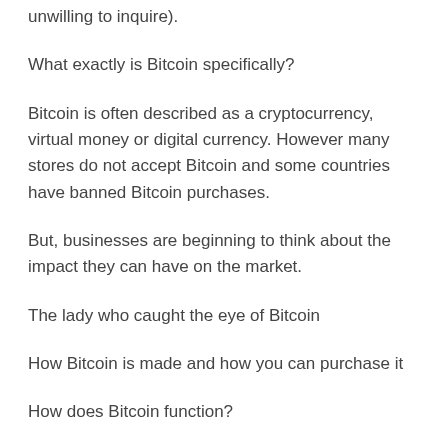unwilling to inquire).
What exactly is Bitcoin specifically?
Bitcoin is often described as a cryptocurrency, virtual money or digital currency. However many stores do not accept Bitcoin and some countries have banned Bitcoin purchases.
But, businesses are beginning to think about the impact they can have on the market.
The lady who caught the eye of Bitcoin
How Bitcoin is made and how you can purchase it
How does Bitcoin function?
A bitcoin is essentially a computer file that's stored in a digital